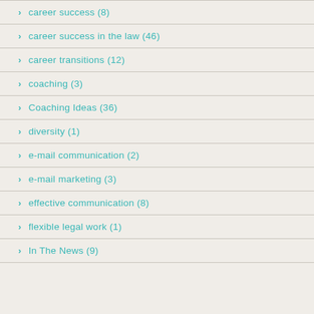career success (8)
career success in the law (46)
career transitions (12)
coaching (3)
Coaching Ideas (36)
diversity (1)
e-mail communication (2)
e-mail marketing (3)
effective communication (8)
flexible legal work (1)
In The News (9)